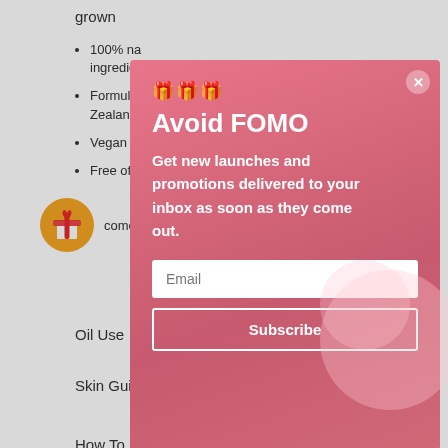grown
100% na... ingredien...
Formula... Zealand...
Vegan a...
Free of n...
comes in a...
Oil Use
Skin Guide
How To Shave...
[Figure (screenshot): Modal popup with pink/red gradient background. Contains emoji icons, title 'Avoid FOMO', subtitle 'Get new launches and promotions delivered to your inbox as soon as they come out.', an email input field, and a Subscribe button. A close (X) button is in the top right corner.]